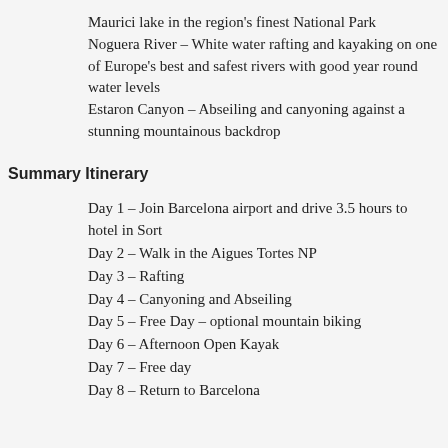Maurici lake in the region's finest National Park
Noguera River – White water rafting and kayaking on one of Europe's best and safest rivers with good year round water levels
Estaron Canyon – Abseiling and canyoning against a stunning mountainous backdrop
Summary Itinerary
Day 1 – Join Barcelona airport and drive 3.5 hours to hotel in Sort
Day 2 – Walk in the Aigues Tortes NP
Day 3 – Rafting
Day 4 – Canyoning and Abseiling
Day 5 – Free Day – optional mountain biking
Day 6 – Afternoon Open Kayak
Day 7 – Free day
Day 8 – Return to Barcelona